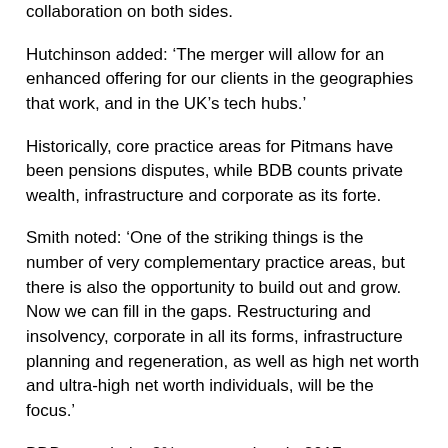collaboration on both sides.
Hutchinson added: ‘The merger will allow for an enhanced offering for our clients in the geographies that work, and in the UK’s tech hubs.’
Historically, core practice areas for Pitmans have been pensions disputes, while BDB counts private wealth, infrastructure and corporate as its forte.
Smith noted: ‘One of the striking things is the number of very complementary practice areas, but there is also the opportunity to build out and grow. Now we can fill in the gaps. Restructuring and insolvency, corporate in all its forms, infrastructure planning and regeneration, as well as high net worth and ultra-high net worth individuals, will be the focus.’
BDB recorded a 3% revenue drop in 2017 to £33.7m, while profit per equity partner (PEP) fell by 10% to £222,000. Its